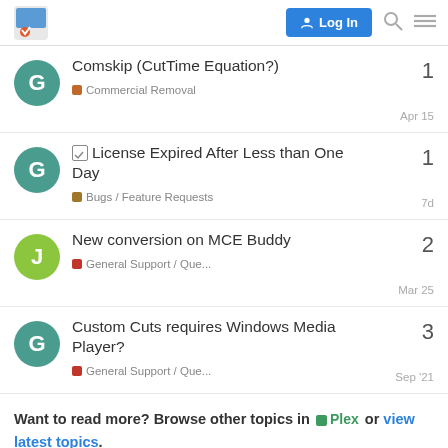[Logo] Log In
Comskip (CutTime Equation?) | Commercial Removal | 1 | Apr 15
License Expired After Less than One Day | Bugs / Feature Requests | 1 | 7d
New conversion on MCE Buddy | General Support / Que... | 2 | Mar 25
Custom Cuts requires Windows Media Player? | General Support / Que... | 3 | Sep '21
Want to read more? Browse other topics in Plex or view latest topics.